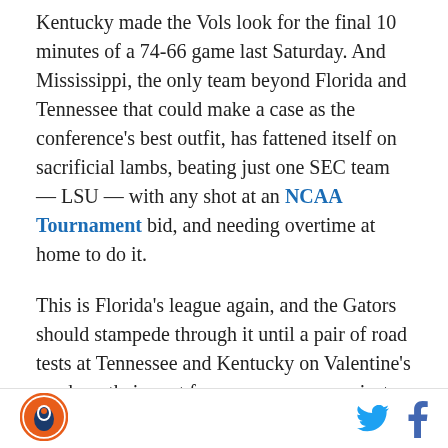Kentucky made the Vols look for the final 10 minutes of a 74-66 game last Saturday. And Mississippi, the only team beyond Florida and Tennessee that could make a case as the conference's best outfit, has fattened itself on sacrificial lambs, beating just one SEC team — LSU — with any shot at an NCAA Tournament bid, and needing overtime at home to do it.
This is Florida's league again, and the Gators should stampede through it until a pair of road tests at Tennessee and Kentucky on Valentine's week — their next four games come against teams at or under .500 in conference play, and three come at home. Still, though it's tempting to dream of an unbeaten conference season and the spoils that would come
SB Nation logo | Twitter | Facebook